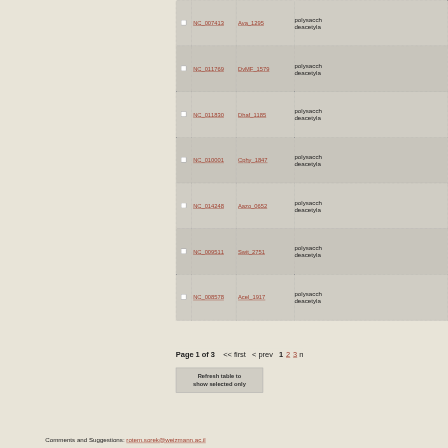|  | NC Accession | Gene | Description |
| --- | --- | --- | --- |
| ☐ | NC_007413 | Ava_1295 | polysaccharide deacetyla... |
| ☐ | NC_011769 | DvMF_1579 | polysacch deacetyla... |
| ☐ | NC_011830 | Dhaf_1185 | polysacch deacetyla... |
| ☐ | NC_010001 | Cphy_1847 | polysacch deacetyla... |
| ☐ | NC_014248 | Aazo_0652 | polysacch deacetyla... |
| ☐ | NC_009511 | Swit_2751 | polysacch deacetyla... |
| ☐ | NC_008578 | Acel_1917 | polysacch deacetyla... |
Page 1 of 3   << first  < prev  1  2  3  n
Refresh table to show selected only
Comments and Suggestions: rotem.sorek@weizmann.ac.il